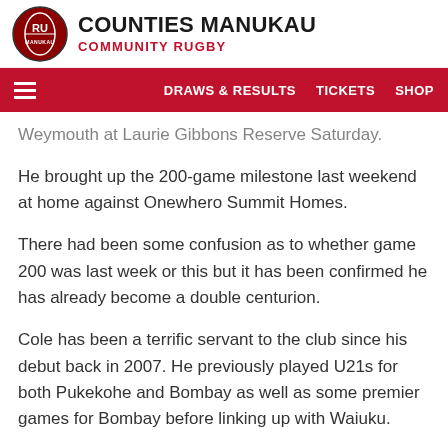COUNTIES MANUKAU COMMUNITY RUGBY
DRAWS & RESULTS   TICKETS   SHOP
Weymouth at Laurie Gibbons Reserve Saturday.
He brought up the 200-game milestone last weekend at home against Onewhero Summit Homes.
There had been some confusion as to whether game 200 was last week or this but it has been confirmed he has already become a double centurion.
Cole has been a terrific servant to the club since his debut back in 2007. He previously played U21s for both Pukekohe and Bombay as well as some premier games for Bombay before linking up with Waiuku.